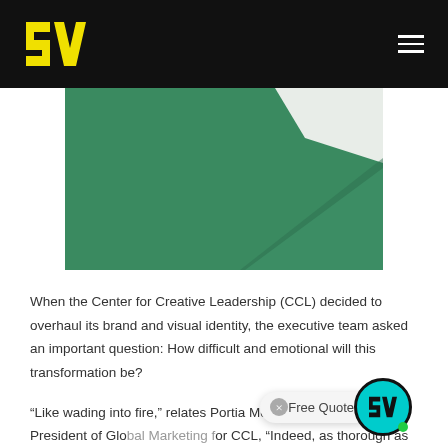[Figure (logo): Yellow stylized SW logo on black navigation bar with hamburger menu icon on the right]
[Figure (illustration): Green geometric abstract image with overlapping triangular and rectangular shapes in dark green and off-white]
When the Center for Creative Leadership (CCL) decided to overhaul its brand and visual identity, the executive team asked an important question: How difficult and emotional will this transformation be?
“Like wading into fire,” relates Portia Mount, Senior Vice President of Global Marketing for CCL, “Indeed, as thorough as our process was,